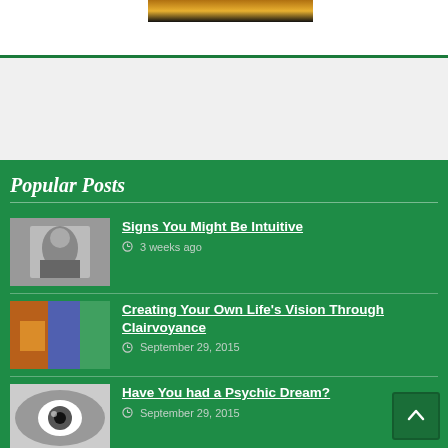[Figure (photo): Sunset/landscape photo banner at top of page]
Popular Posts
Signs You Might Be Intuitive — 3 weeks ago
Creating Your Own Life's Vision Through Clairvoyance — September 29, 2015
Have You had a Psychic Dream? — September 29, 2015
Are You a Clairvoyant? — October 2, 2015